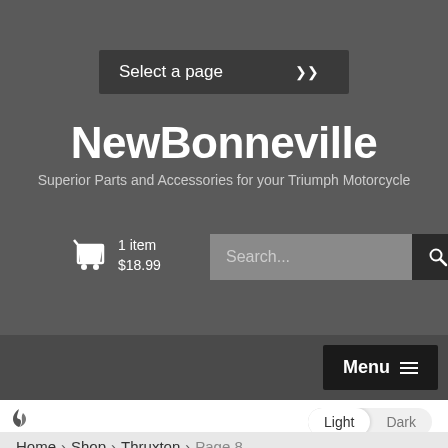Select a page
NewBonneville
Superior Parts and Accessories for your Triumph Motorcycle
1 item $18.99
Search...
Menu
Light Dark
Home > Shop > Thruxton > Page 8